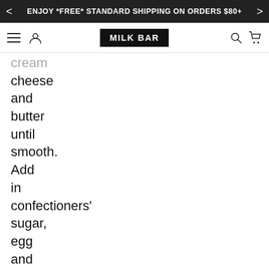ENJOY *FREE* STANDARD SHIPPING ON ORDERS $80+
[Figure (logo): Milk Bar logo - white text on black rectangle]
cream cheese and butter until smooth. Add in confectioners' sugar, egg and salt and mix until smooth. Pour on